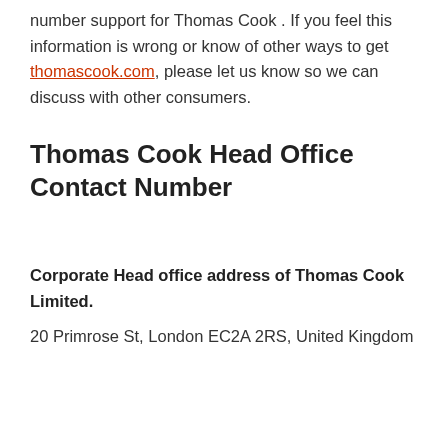number support for Thomas Cook . If you feel this information is wrong or know of other ways to get thomascook.com, please let us know so we can discuss with other consumers.
Thomas Cook Head Office Contact Number
Corporate Head office address of Thomas Cook Limited.
20 Primrose St, London EC2A 2RS, United Kingdom